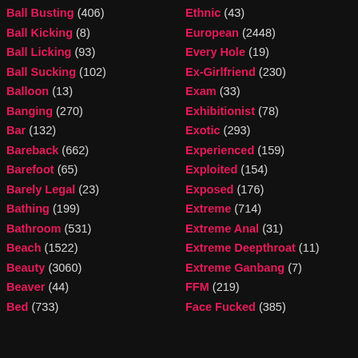Ball Busting (406)
Ball Kicking (8)
Ball Licking (93)
Ball Sucking (102)
Balloon (13)
Banging (270)
Bar (132)
Bareback (662)
Barefoot (65)
Barely Legal (23)
Bathing (199)
Bathroom (531)
Beach (1522)
Beauty (3060)
Beaver (44)
Bed (733)
Ethnic (43)
European (2448)
Every Hole (19)
Ex-Girlfriend (230)
Exam (33)
Exhibitionist (78)
Exotic (293)
Experienced (159)
Exploited (154)
Exposed (176)
Extreme (714)
Extreme Anal (31)
Extreme Deepthroat (11)
Extreme Ganbang (7)
FFM (219)
Face Fucked (385)